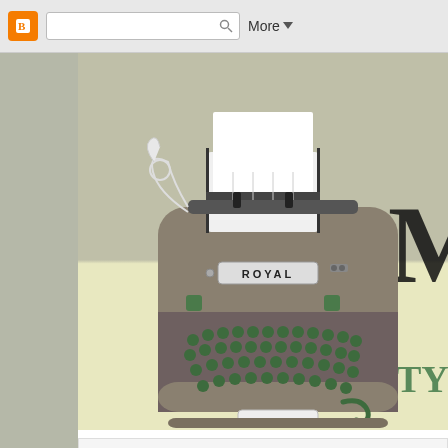[Figure (screenshot): Blogger browser toolbar with orange Blogger icon, search box with magnifying glass icon, and 'More' dropdown button]
[Figure (illustration): Illustration of a vintage Royal typewriter with green keys on a light yellow/beige background, with the letter 'M' and text 'TY' partially visible on the right side of the banner]
Showing posts with label CT
Friday, January 30, 2015